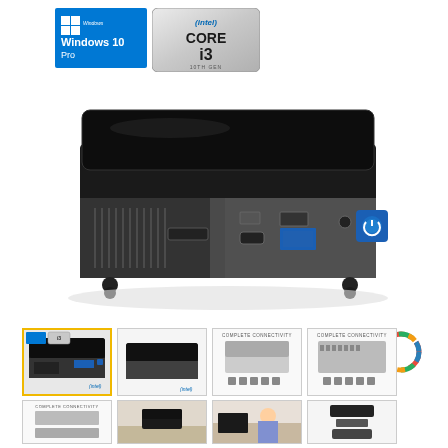[Figure (photo): Windows 10 Pro logo badge (blue background with Windows icon and text)]
[Figure (logo): Intel Core i3 10th Gen processor badge, silver/metallic design]
[Figure (photo): Intel NUC mini PC main product photo, black compact desktop computer with USB ports, SD card slot, power button, and audio jack on front panel]
[Figure (logo): Intel UHD Graphics logo badge, circular colorful ring on right side]
[Figure (photo): Thumbnail 1 (selected, yellow border): main product photo with logos]
[Figure (photo): Thumbnail 2: side view of Intel NUC with Intel UHD logo]
[Figure (photo): Thumbnail 3: front connectivity diagram labeled COMPLETE CONNECTIVITY]
[Figure (photo): Thumbnail 4: rear connectivity diagram labeled COMPLETE CONNECTIVITY]
[Figure (photo): Thumbnail 5: stacked view connectivity diagram labeled COMPLETE CONNECTIVITY]
[Figure (photo): Thumbnail 6: NUC on desk lifestyle photo]
[Figure (photo): Thumbnail 7: lifestyle photo of person using NUC with TV]
[Figure (photo): Thumbnail 8: NUC components exploded view]